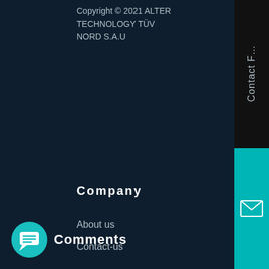Copyright © 2021 ALTER TECHNOLOGY TUV NORD S.A.U
Company
About us
Contact-us
How does doEEEt works? – FAQ
Comments
Contact F…